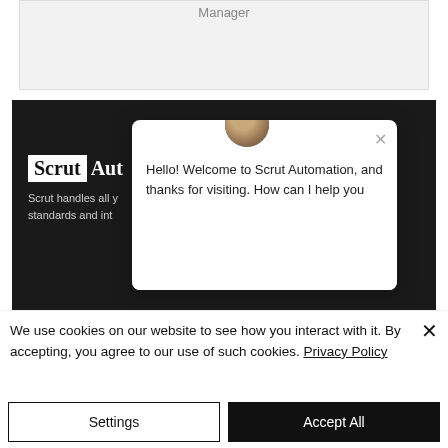[Figure (screenshot): A UI element showing 'Manager' text at top on a light gray background, partially visible]
[Figure (screenshot): Scrut Automation website screenshot with dark background showing 'Scrut Automation' logo and text 'Scrut handles all your standards and int...' with a chat widget overlay saying 'Hello! Welcome to Scrut Automation, and thanks for visiting. How can I help you']
We use cookies on our website to see how you interact with it. By accepting, you agree to our use of such cookies. Privacy Policy
[Figure (screenshot): Two buttons: 'Settings' (outlined) and 'Accept All' (black filled)]